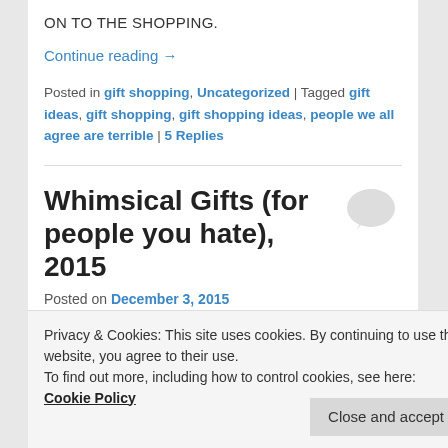ON TO THE SHOPPING.
Continue reading →
Posted in gift shopping, Uncategorized | Tagged gift ideas, gift shopping, gift shopping ideas, people we all agree are terrible | 5 Replies
Whimsical Gifts (for people you hate), 2015
Posted on December 3, 2015
Privacy & Cookies: This site uses cookies. By continuing to use this website, you agree to their use.
To find out more, including how to control cookies, see here: Cookie Policy
that sometimes, presents are obligatory. Or maybe it